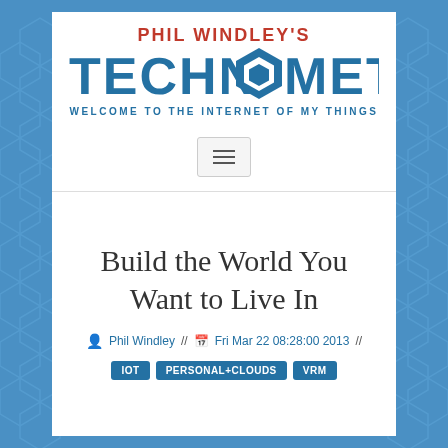[Figure (logo): Phil Windley's Technometria blog logo with hexagon icon, subtitle: WELCOME TO THE INTERNET OF MY THINGS]
Build the World You Want to Live In
Phil Windley // Fri Mar 22 08:28:00 2013 //
IOT
PERSONAL+CLOUDS
VRM